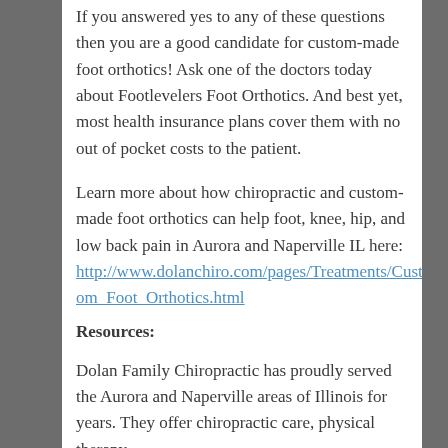If you answered yes to any of these questions then you are a good candidate for custom-made foot orthotics! Ask one of the doctors today about Footlevelers Foot Orthotics. And best yet, most health insurance plans cover them with no out of pocket costs to the patient.
Learn more about how chiropractic and custom-made foot orthotics can help foot, knee, hip, and low back pain in Aurora and Naperville IL here: http://www.dolanchiro.com/pages/Treatments/Custom_Foot_Orthotics.html
Resources:
Dolan Family Chiropractic has proudly served the Aurora and Naperville areas of Illinois for years. They offer chiropractic care, physical therapy,